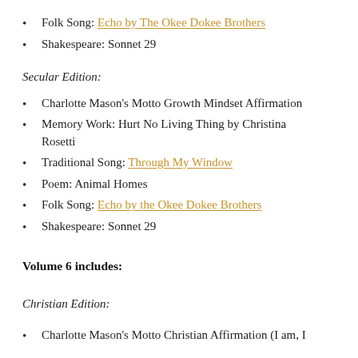Folk Song: Echo by The Okee Dokee Brothers
Shakespeare: Sonnet 29
Secular Edition:
Charlotte Mason's Motto Growth Mindset Affirmation
Memory Work: Hurt No Living Thing by Christina Rosetti
Traditional Song: Through My Window
Poem: Animal Homes
Folk Song: Echo by the Okee Dokee Brothers
Shakespeare: Sonnet 29
Volume 6 includes:
Christian Edition:
Charlotte Mason's Motto Christian Affirmation (I am, I